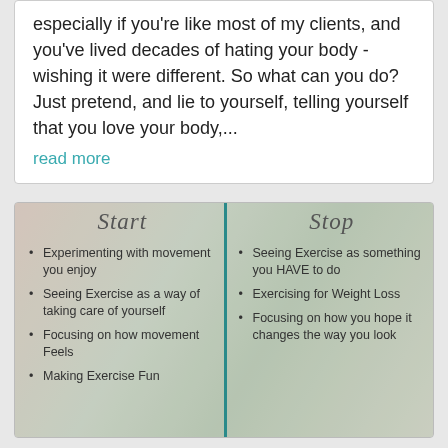especially if you're like most of my clients, and you've lived decades of hating your body - wishing it were different. So what can you do? Just pretend, and lie to yourself, telling yourself that you love your body,...
read more
[Figure (infographic): Two-column infographic with a teal vertical divider. Left column header: 'Start' with bullet points about positive exercise habits. Right column header: 'Stop' with bullet points about negative exercise habits. Background shows a blurred outdoor/yoga image.]